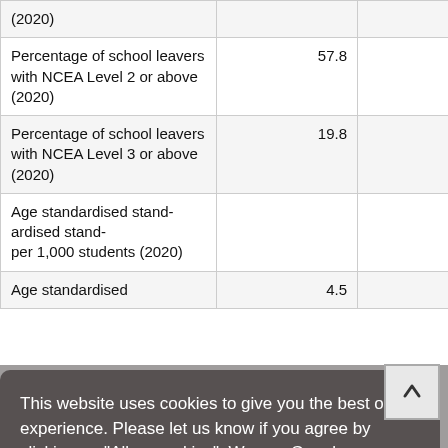|  |  |  |
| --- | --- | --- |
| (2020) |  |  |
| Percentage of school leavers with NCEA Level 2 or above (2020) | 57.8 | 80.8 |
| Percentage of school leavers with NCEA Level 3 or above (2020) | 19.8 | 59.1 |
| Age standardised stand-ardised stand- per 1,000 students (2020) |  | 23.4 |
| Age standardised | 4.5 | 2.9 |
This website uses cookies to give you the best online experience. Please let us know if you agree by clicking on "Allow cookies". We use Google Analytics, a digital analytics software, when you visit our site, even if you decline cookies. You will need to deactivate this cookie using your browser. About cookies